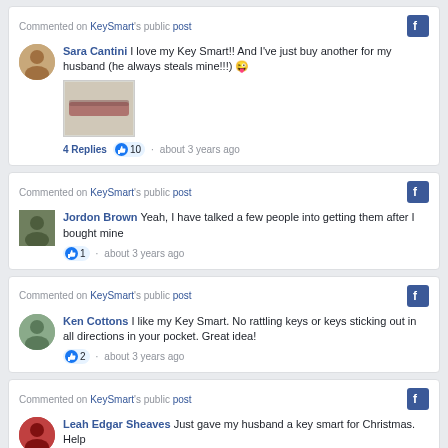Commented on KeySmart's public post
Sara Cantini I love my Key Smart!! And I've just buy another for my husband (he always steals mine!!!) 😜
4 Replies · 10 · about 3 years ago
Commented on KeySmart's public post
Jordon Brown Yeah, I have talked a few people into getting them after I bought mine
1 · about 3 years ago
Commented on KeySmart's public post
Ken Cottons I like my Key Smart. No rattling keys or keys sticking out in all directions in your pocket. Great idea!
2 · about 3 years ago
Commented on KeySmart's public post
Leah Edgar Sheaves Just gave my husband a key smart for Christmas. Help